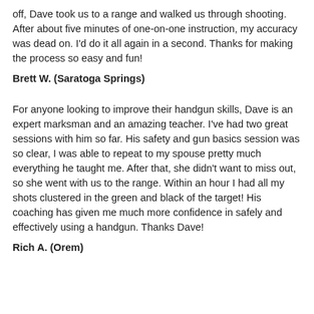off, Dave took us to a range and walked us through shooting. After about five minutes of one-on-one instruction, my accuracy was dead on. I'd do it all again in a second. Thanks for making the process so easy and fun!
Brett W. (Saratoga Springs)
For anyone looking to improve their handgun skills, Dave is an expert marksman and an amazing teacher. I've had two great sessions with him so far. His safety and gun basics session was so clear, I was able to repeat to my spouse pretty much everything he taught me. After that, she didn't want to miss out, so she went with us to the range. Within an hour I had all my shots clustered in the green and black of the target! His coaching has given me much more confidence in safely and effectively using a handgun. Thanks Dave!
Rich A. (Orem)